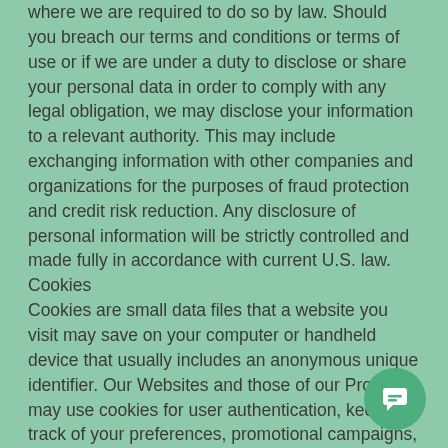where we are required to do so by law. Should you breach our terms and conditions or terms of use or if we are under a duty to disclose or share your personal data in order to comply with any legal obligation, we may disclose your information to a relevant authority. This may include exchanging information with other companies and organizations for the purposes of fraud protection and credit risk reduction. Any disclosure of personal information will be strictly controlled and made fully in accordance with current U.S. law.
Cookies
Cookies are small data files that a website you visit may save on your computer or handheld device that usually includes an anonymous unique identifier. Our Websites and those of our Products may use cookies for user authentication, keeping track of your preferences, promotional campaigns, tracking our audience size and traffic patterns, and in certain other cases. We may include